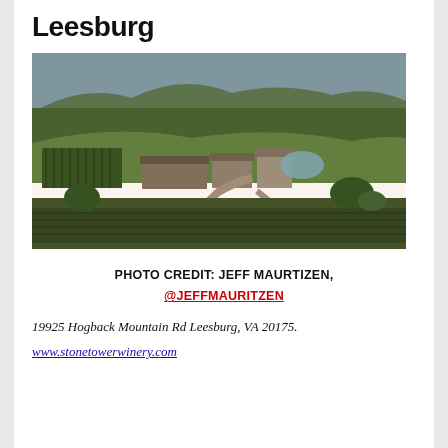Leesburg
[Figure (photo): Aerial drone photograph of Stone Tower Winery in Leesburg, VA showing vineyard rows, farm buildings, a pond, surrounding green fields and forested hills in the background at golden hour.]
PHOTO CREDIT: JEFF MAURTIZEN, @JEFFMAURITZEN
19925 Hogback Mountain Rd Leesburg, VA 20175.
www.stonetowerwinery.com